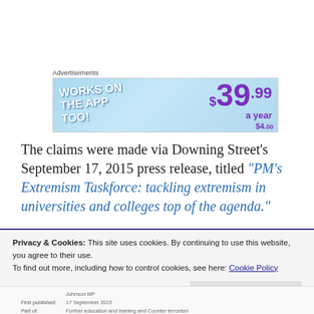Advertisements
[Figure (illustration): Advertisement banner showing 'WORKS ON THE APP TOO!' text on the left and '$39.99 a year' price on the right, on a blue gradient background.]
The claims were made via Downing Street’s September 17, 2015 press release, titled “PM’s Extremism Taskforce: tackling extremism in universities and colleges top of the agenda.”
Privacy & Cookies: This site uses cookies. By continuing to use this website, you agree to their use.
To find out more, including how to control cookies, see here: Cookie Policy
Close and accept
Johnson MP
First published: 17 September 2015
Part of: Further education and training and Counter terrorism